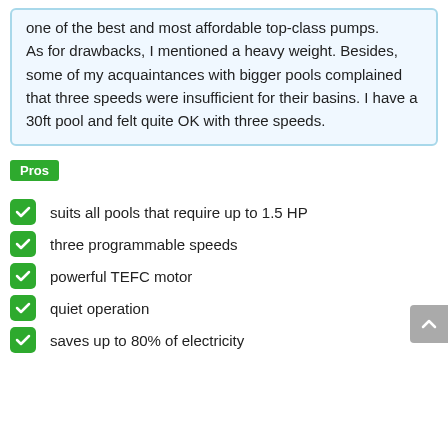one of the best and most affordable top-class pumps. As for drawbacks, I mentioned a heavy weight. Besides, some of my acquaintances with bigger pools complained that three speeds were insufficient for their basins. I have a 30ft pool and felt quite OK with three speeds.
Pros
suits all pools that require up to 1.5 HP
three programmable speeds
powerful TEFC motor
quiet operation
saves up to 80% of electricity